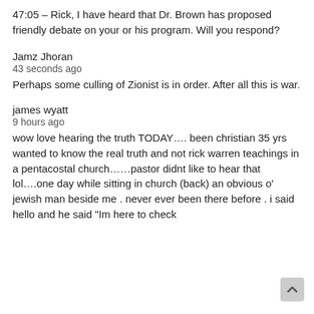47:05 – Rick, I have heard that Dr. Brown has proposed friendly debate on your or his program. Will you respond?
Jamz Jhoran
43 seconds ago
Perhaps some culling of Zionist is in order. After all this is war.
james wyatt
9 hours ago
wow love hearing the truth TODAY…. been christian 35 yrs wanted to know the real truth and not rick warren teachings in a pentacostal church……pastor didnt like to hear that lol….one day while sitting in church (back) an obvious o' jewish man beside me . never ever been there before . i said hello and he said "Im here to check